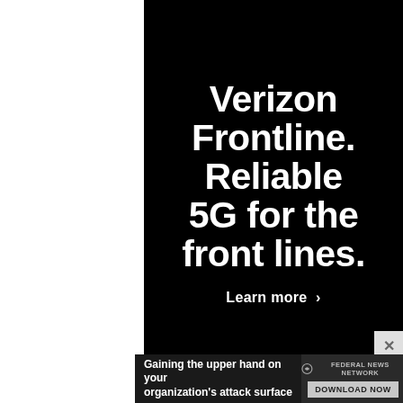[Figure (illustration): Verizon Frontline advertisement. Black background with large white bold text reading 'Verizon Frontline. Reliable 5G for the front lines.' with a 'Learn more >' call to action button.]
Verizon Frontline. Reliable 5G for the front lines.
Learn more >
[Figure (illustration): Federal News Network banner advertisement. Dark background with text 'Gaining the upper hand on your organization's attack surface' and a 'DOWNLOAD NOW' button with Federal News Network logo.]